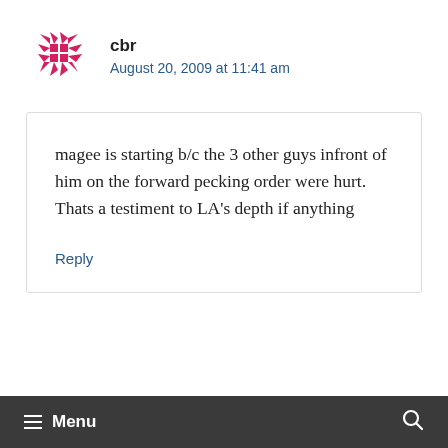[Figure (logo): Red/pink geometric star-like logo icon made of triangular pieces arranged around a central grid]
cbr
August 20, 2009 at 11:41 am
magee is starting b/c the 3 other guys infront of him on the forward pecking order were hurt. Thats a testiment to LA's depth if anything
Reply
≡ Menu